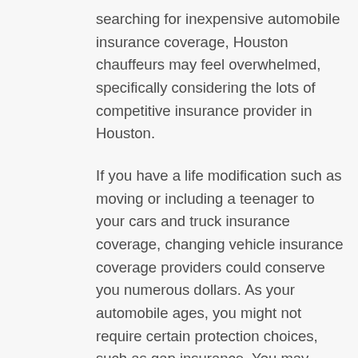searching for inexpensive automobile insurance coverage, Houston chauffeurs may feel overwhelmed, specifically considering the lots of competitive insurance provider in Houston.
If you have a life modification such as moving or including a teenager to your cars and truck insurance coverage, changing vehicle insurance coverage providers could conserve you numerous dollars. As your automobile ages, you might not require certain protection choices, such as gap insurance. You may desire to reevaluate your automobile insurance protection every couple of